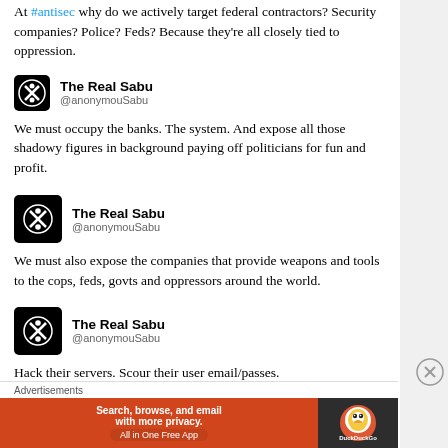At #antisec why do we actively target federal contractors? Security companies? Police? Feds? Because they're all closely tied to oppression.
The Real Sabu @anonymouSabu — We must occupy the banks. The system. And expose all those shadowy figures in background paying off politicians for fun and profit.
The Real Sabu @anonymouSabu — We must also expose the companies that provide weapons and tools to the cops, feds, govts and oppressors around the world.
The Real Sabu @anonymouSabu — Hack their servers. Scour their user email/passes.
Advertisements
[Figure (screenshot): DuckDuckGo advertisement banner: Search, browse, and email with more privacy. All in One Free App]